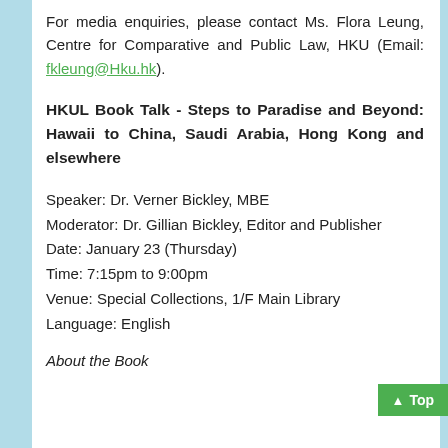For media enquiries, please contact Ms. Flora Leung, Centre for Comparative and Public Law, HKU (Email: fkleung@Hku.hk).
HKUL Book Talk - Steps to Paradise and Beyond: Hawaii to China, Saudi Arabia, Hong Kong and elsewhere
Speaker: Dr. Verner Bickley, MBE
Moderator: Dr. Gillian Bickley, Editor and Publisher
Date: January 23 (Thursday)
Time: 7:15pm to 9:00pm
Venue: Special Collections, 1/F Main Library
Language: English
About the Book